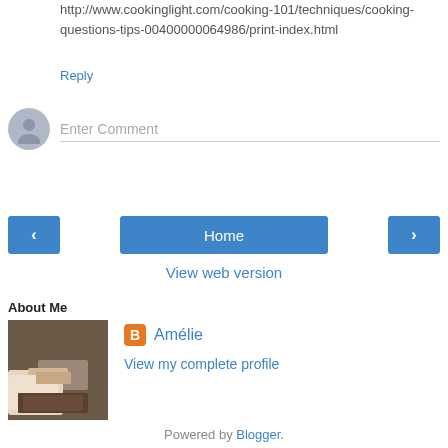http://www.cookinglight.com/cooking-101/techniques/cooking-questions-tips-00400000064986/print-index.html
Reply
Enter Comment
Home
View web version
About Me
[Figure (photo): Profile photo showing a hand holding a dark food item]
Amélie
View my complete profile
Powered by Blogger.